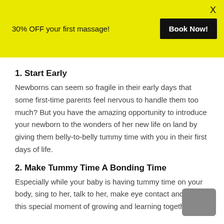30% OFF your first massage! Book Now! X
1. Start Early
Newborns can seem so fragile in their early days that some first-time parents feel nervous to handle them too much? But you have the amazing opportunity to introduce your newborn to the wonders of her new life on land by giving them belly-to-belly tummy time with you in their first days of life.
2. Make Tummy Time A Bonding Time
Especially while your baby is having tummy time on your body, sing to her, talk to her, make eye contact and enjoy this special moment of growing and learning together.